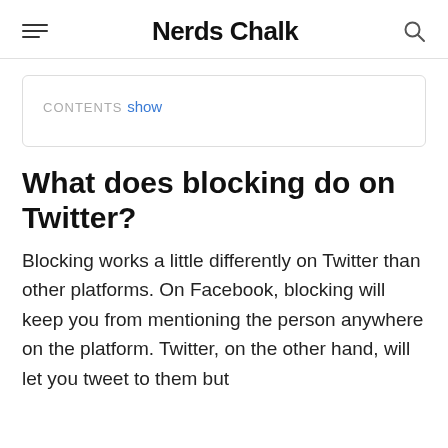Nerds Chalk
CONTENTS show
What does blocking do on Twitter?
Blocking works a little differently on Twitter than other platforms. On Facebook, blocking will keep you from mentioning the person anywhere on the platform. Twitter, on the other hand, will let you tweet to them but